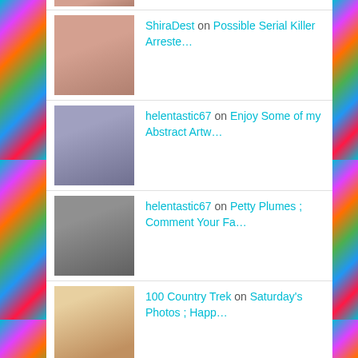ShiraDest on Possible Serial Killer Arreste…
helentastic67 on Enjoy Some of my Abstract Artw…
helentastic67 on Petty Plumes ; Comment Your Fa…
100 Country Trek on Saturday's Photos ; Happ…
- Archives -
April 2022
October 2020